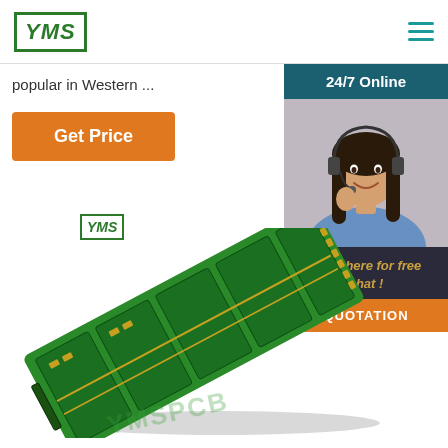[Figure (logo): YMS company logo - green bordered box with italic YMS text]
[Figure (other): Hamburger menu icon with three teal horizontal lines]
popular in Western ...
[Figure (other): Orange Get Price button]
[Figure (photo): Right sidebar with 24/7 Online banner, customer service representative photo with headset, Click here for free chat text in gold, and orange QUOTATION button]
[Figure (logo): Small YMS logo above PCB image]
[Figure (photo): Green PCB board photo shown at an angle with YMSPCB watermark]